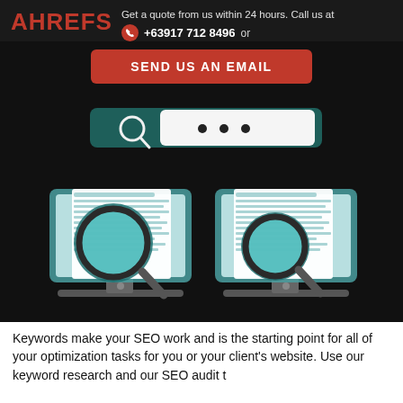AHREFS
Get a quote from us within 24 hours. Call us at +63917 712 8496 or
SEND US AN EMAIL
[Figure (illustration): Search bar illustration at top with magnifying glass icon and three dots, and two monitor screens each showing a document with a large magnifying glass overlaid, on dark background.]
Keywords make your SEO work and is the starting point for all of your optimization tasks for you or your client's website. Use our keyword research and our SEO audit t